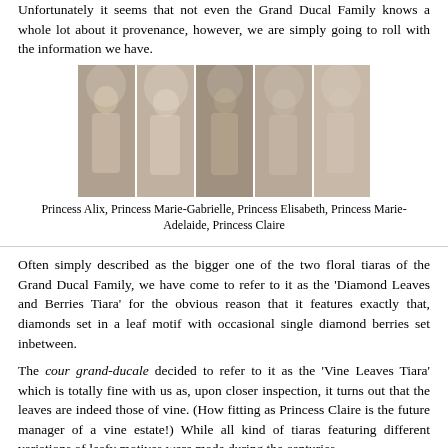Unfortunately it seems that not even the Grand Ducal Family knows a whole lot about it provenance, however, we are simply going to roll with the information we have.
[Figure (photo): A horizontal strip of five black-and-white wedding photos showing: Princess Alix, Princess Marie-Gabrielle, Princess Elisabeth, Princess Marie-Adelaide, and Princess Claire, each wearing a tiara and wedding veil.]
Princess Alix, Princess Marie-Gabrielle, Princess Elisabeth, Princess Marie-Adelaide, Princess Claire
Often simply described as the bigger one of the two floral tiaras of the Grand Ducal Family, we have come to refer to it as the 'Diamond Leaves and Berries Tiara' for the obvious reason that it features exactly that, diamonds set in a leaf motif with occasional single diamond berries set inbetween.
The cour grand-ducale decided to refer to it as the 'Vine Leaves Tiara' which is totally fine with us as, upon closer inspection, it turns out that the leaves are indeed those of vine. (How fitting as Princess Claire is the future manager of a vine estate!) While all kind of tiaras featuring different variations of leafy motives were made during the centuries,